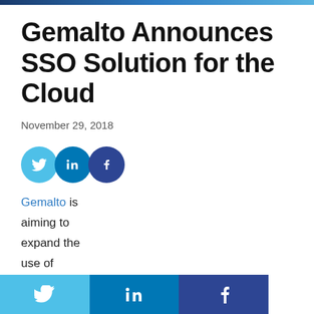Gemalto Announces SSO Solution for the Cloud
November 29, 2018
[Figure (infographic): Social media share icons: Twitter (light blue circle), LinkedIn (blue circle), Facebook (dark blue circle)]
Gemalto is aiming to expand the use of Public Key
[Figure (infographic): Bottom social share bar with Twitter, LinkedIn, and Facebook icons on colored backgrounds]